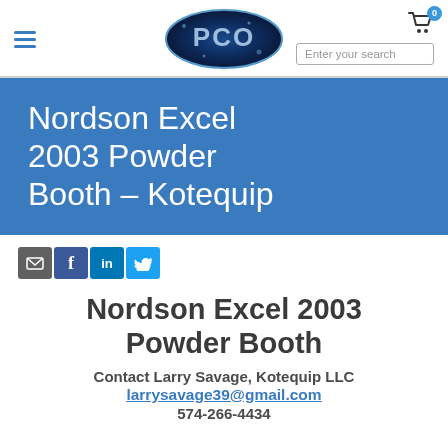PCO logo, hamburger menu, cart icon with badge 0, Enter your search box
Nordson Excel 2003 Powder Booth – Kotequip
[Figure (infographic): Social sharing icons: email, Facebook, LinkedIn, Twitter]
Nordson Excel 2003 Powder Booth
Contact Larry Savage, Kotequip LLC
larrysavage39@gmail.com
574-266-4434